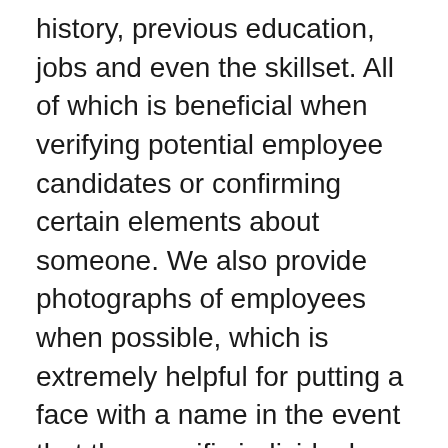history, previous education, jobs and even the skillset. All of which is beneficial when verifying potential employee candidates or confirming certain elements about someone. We also provide photographs of employees when possible, which is extremely helpful for putting a face with a name in the event that the specific individual you’re searching for, has a common name.
The search features make it fast so you can get the results you need today, so you can reach out to that special someone you wanted to find. US Staff makes it easy to reunite with others both personally and professionally. Get started today!